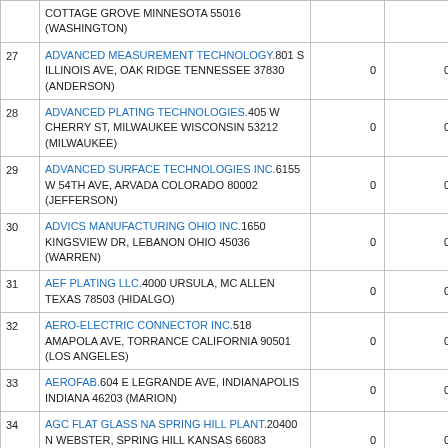| # | Facility Name and Address | Col3 | Col4 |
| --- | --- | --- | --- |
|  | COTTAGE GROVE MINNESOTA 55016 (WASHINGTON) | 0 | 0 |
| 27 | ADVANCED MEASUREMENT TECHNOLOGY.801 S ILLINOIS AVE, OAK RIDGE TENNESSEE 37830 (ANDERSON) | 0 | 0 |
| 28 | ADVANCED PLATING TECHNOLOGIES.405 W CHERRY ST, MILWAUKEE WISCONSIN 53212 (MILWAUKEE) | 0 | 0 |
| 29 | ADVANCED SURFACE TECHNOLOGIES INC.6155 W 54TH AVE, ARVADA COLORADO 80002 (JEFFERSON) | 0 | 0 |
| 30 | ADVICS MANUFACTURING OHIO INC.1650 KINGSVIEW DR, LEBANON OHIO 45036 (WARREN) | 0 | 0 |
| 31 | AEF PLATING LLC.4000 URSULA, MC ALLEN TEXAS 78503 (HIDALGO) | 0 | 0 |
| 32 | AERO-ELECTRIC CONNECTOR INC.518 AMAPOLA AVE, TORRANCE CALIFORNIA 90501 (LOS ANGELES) | 0 | 0 |
| 33 | AEROFAB.604 E LEGRANDE AVE, INDIANAPOLIS INDIANA 46203 (MARION) | 0 | 0 |
| 34 | AGC FLAT GLASS NA SPRING HILL PLANT.20400 N WEBSTER, SPRING HILL KANSAS 66083 (JOHNSON) | 0 | 0 |